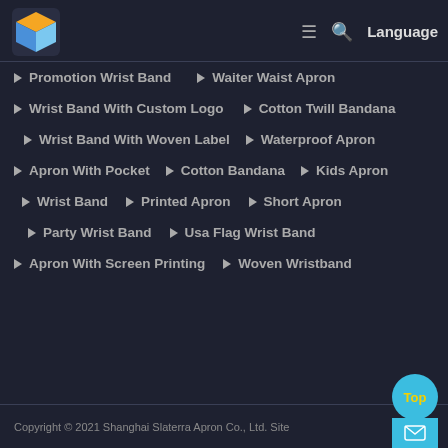[Figure (logo): Colorful cube logo with blue/yellow/orange colors]
≡ 🔍 Language
Promotion Wrist Band
Waiter Waist Apron
Wrist Band With Custom Logo
Cotton Twill Bandana
Wrist Band With Woven Label
Waterproof Apron
Apron With Pocket
Cotton Bandana
Kids Apron
Wrist Band
Printed Apron
Short Apron
Party Wrist Band
Usa Flag Wrist Band
Apron With Screen Printing
Woven Wristband
Copyright © 2021 Shanghai Slaterra Apron Co., Ltd. Site